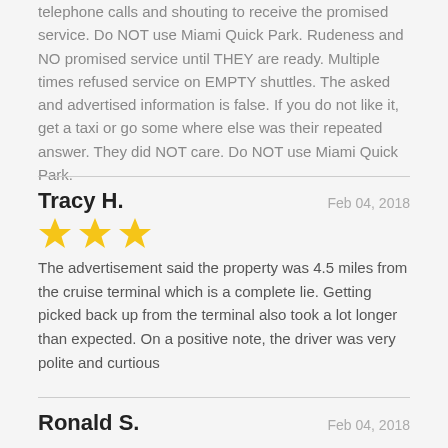telephone calls and shouting to receive the promised service. Do NOT use Miami Quick Park. Rudeness and NO promised service until THEY are ready. Multiple times refused service on EMPTY shuttles. The asked and advertised information is false. If you do not like it, get a taxi or go some where else was their repeated answer. They did NOT care. Do NOT use Miami Quick Park.
Tracy H.
Feb 04, 2018
[Figure (other): 3 gold stars rating]
The advertisement said the property was 4.5 miles from the cruise terminal which is a complete lie. Getting picked back up from the terminal also took a lot longer than expected. On a positive note, the driver was very polite and curtious
Ronald S.
Feb 04, 2018